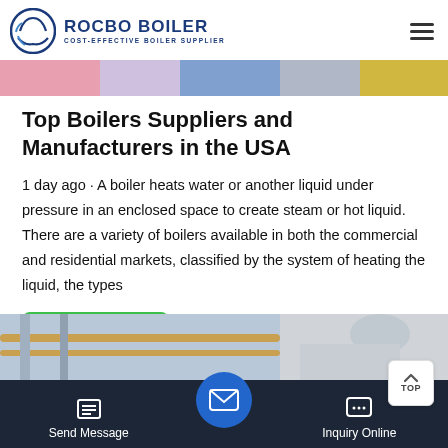ROCBO BOILER — COST-EFFECTIVE BOILER SUPPLIER
[Figure (photo): Colorful industrial/workers banner image at top of page]
Top Boilers Suppliers and Manufacturers in the USA
1 day ago · A boiler heats water or another liquid under pressure in an enclosed space to create steam or hot liquid. There are a variety of boilers available in both the commercial and residential markets, classified by the system of heating the liquid, the types
[Figure (other): Get Price green button]
[Figure (photo): Industrial boiler/pipes photo at bottom of page]
Send Message | Inquiry Online